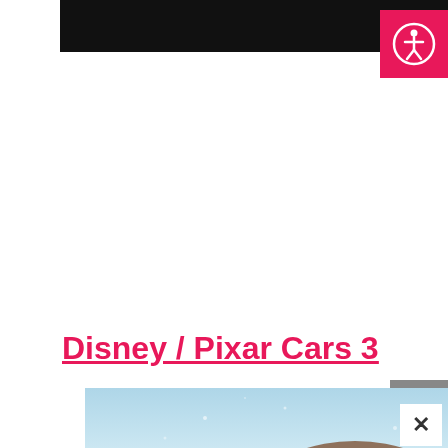[Figure (logo): Accessibility button icon - pink/red square with white person-in-circle icon]
Disney / Pixar Cars 3
[Figure (photo): Cars 3 movie promotional image - shows animated car characters in a snowy or icy scene with light blue background]